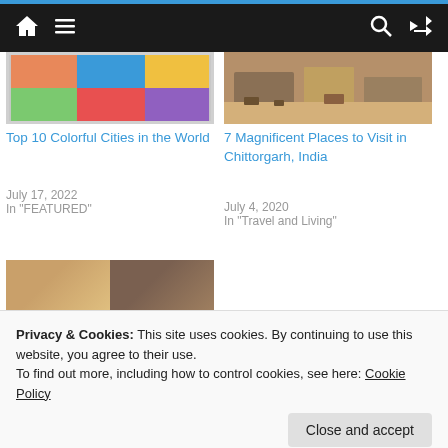Navigation bar with home, menu, search, and shuffle icons
[Figure (photo): Top 10 Colorful Cities in the World – collage thumbnail]
Top 10 Colorful Cities in the World
July 17, 2022
In "FEATURED"
[Figure (photo): 7 Magnificent Places to Visit in Chittorgarh, India – ruins thumbnail]
7 Magnificent Places to Visit in Chittorgarh, India
July 4, 2020
In "Travel and Living"
[Figure (photo): Top 9 UNESCO World… – mosaic collage thumbnail]
Top 9 UNESCO World…
Privacy & Cookies: This site uses cookies. By continuing to use this website, you agree to their use.
To find out more, including how to control cookies, see here: Cookie Policy
Close and accept
Page … next →, next →, next 99pp… ←, ←ately, ← India)